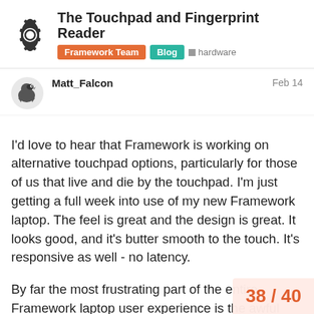The Touchpad and Fingerprint Reader
Framework Team · Blog · hardware
Matt_Falcon   Feb 14
I'd love to hear that Framework is working on alternative touchpad options, particularly for those of us that live and die by the touchpad. I'm just getting a full week into use of my new Framework laptop. The feel is great and the design is great. It looks good, and it's butter smooth to the touch. It's responsive as well - no latency.
By far the most frustrating part of the entire Framework laptop user experience is the awful functional issues of touchpad. Most common problem is that of slide-clicks - where you go to click something using the press action, and without my finger actually moving, the cursor moves while clicking and either misse worse, hits something else. It oversha
38 / 40